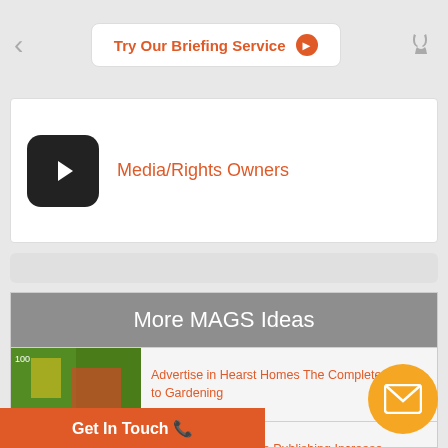Try Our Briefing Service
Media/Rights Owners
[Figure (screenshot): Thumbnail image for Hearst Homes gardening guide]
Advertise in Hearst Homes The Complete Guide to Gardening
[Figure (screenshot): Thumbnail image for Future Publishing Dell case study]
CASE STUDY:Future Publishing Increase Awareness & Sales of Dell
[Figure (screenshot): Thumbnail image for Jamesons Cult Film Club case study]
CASE STUDY: Jamesons launch Cult Film Club screenings
[Figure (screenshot): Thumbnail image for Jamie Oliver portfolio]
across the Jamie Oliver portfolio
Get In Touch